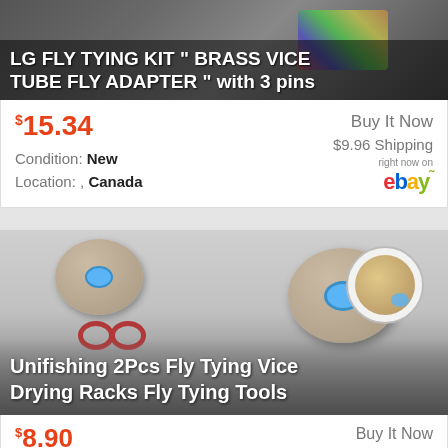[Figure (photo): Product photo of LG Fly Tying Kit with Brass Vice Tube Fly Adapter with 3 pins, dark background with fly tying materials]
LG FLY TYING KIT " BRASS VICE TUBE FLY ADAPTER " with 3 pins
$15.34
Buy It Now
$9.96 Shipping
right now on ebay
Condition: New
Location: , Canada
[Figure (photo): Product photo of Unifishing 2Pcs Fly Tying Vice Drying Racks Fly Tying Tools - shows two grey foam disks with blue center holes and brown O-rings, with circular inset image in top right]
Unifishing 2Pcs Fly Tying Vice Drying Racks Fly Tying Tools
$8.90
Buy It Now
Free Shipping
Condition: New